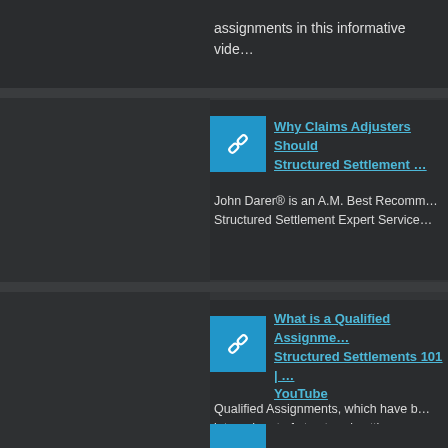assignments in this informative video
[Figure (other): Blue link icon (chain link symbol)]
Why Claims Adjusters Should... Structured Settlement ...
John Darer® is an A.M. Best Recommended Structured Settlement Expert Services
[Figure (other): Blue link icon (chain link symbol)]
What is a Qualified Assignment... Structured Settlements 101 | ... YouTube
Qualified Assignments, which have b... integral part of structured settlements... 1983 and provide benefits to all part... John Darer® explains